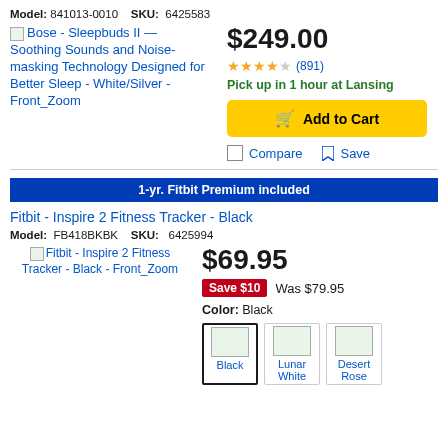Model: 841013-0010   SKU: 6425583
[Figure (screenshot): Bose Sleepbuds II product listing image placeholder with link text]
$249.00
★★★★☆ (891)
Pick up in 1 hour at Lansing
Add to Cart
Compare   Save
1-yr. Fitbit Premium included
Fitbit - Inspire 2 Fitness Tracker - Black
Model: FB418BKBK   SKU: 6425994
[Figure (screenshot): Fitbit Inspire 2 product image placeholder with link text]
$69.95
Save $10   Was $79.95
Color: Black
[Figure (screenshot): Color swatches: Black (selected), Lunar White, Desert Rose]